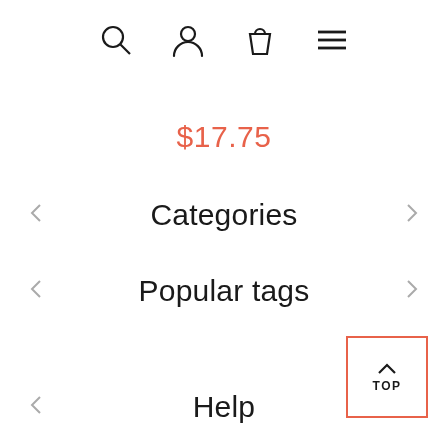[Figure (screenshot): Navigation header icons: search (magnifying glass), user (person outline), shopping bag, and hamburger menu]
$17.75
Categories
Popular tags
Help
[Figure (other): TOP button with upward chevron arrow in a coral/red outlined square box]